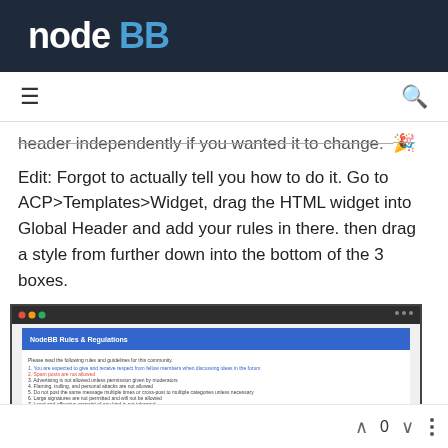node BB
header independently if you wanted it to change. 🟡
Edit: Forgot to actually tell you how to do it. Go to ACP>Templates>Widget, drag the HTML widget into Global Header and add your rules in there. then drag a style from further down into the bottom of the 3 boxes.
[Figure (screenshot): Screenshot of NodeBB forum interface showing forum categories with colored tiles: Announcements, General Discussion, NodeBB Development, Blogs (blue tiles), Feature Requests, Bug Reports, NodeBB Plugins, NodeBB Code Exchange (purple/magenta tiles)]